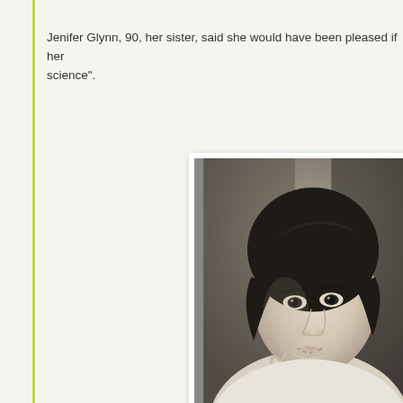Jenifer Glynn, 90, her sister, said she would have been pleased if her science".
[Figure (photo): Black and white portrait photograph of a young woman with dark hair swept up, resting her chin on her hand, wearing a light-colored top and bracelet, looking slightly to the side.]